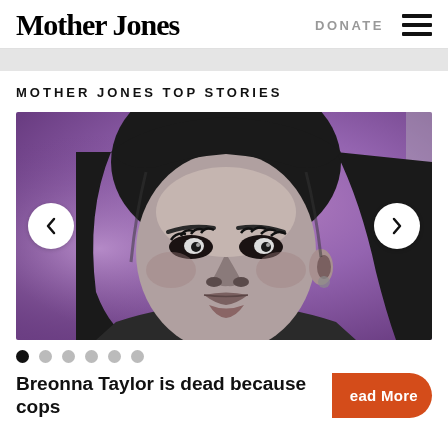Mother Jones | DONATE
MOTHER JONES TOP STORIES
[Figure (photo): Grayscale portrait illustration of Breonna Taylor against a purple/violet background, used as carousel hero image]
Breonna Taylor is dead because cops
Read More